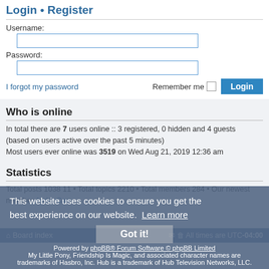Login • Register
Username:
Password:
I forgot my password    Remember me   Login
Who is online
In total there are 7 users online :: 3 registered, 0 hidden and 4 guests (based on users active over the past 5 minutes)
Most users ever online was 3519 on Wed Aug 21, 2019 12:36 am
Statistics
Total posts 1038 11 • Total topics 2210 • Total members 284 • Our newest member AydenCarr
This website uses cookies to ensure you get the best experience on our website. Learn more
Got it!
Board index    All times are UTC-04:00
Powered by phpBB® Forum Software © phpBB Limited
My Little Pony, Friendship Is Magic, and associated character names are trademarks of Hasbro, Inc. Hub is a trademark of Hub Television Networks, LLC.